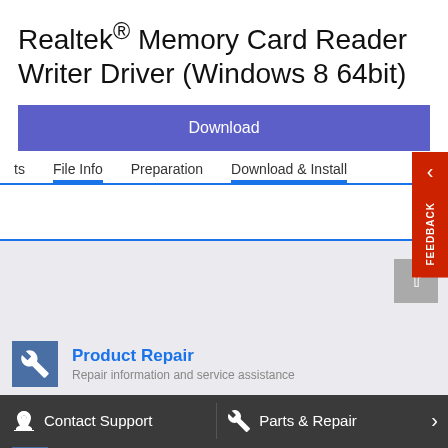Realtek® Memory Card Reader Writer Driver (Windows 8 64bit)
Download
ts   File Info   Preparation   Download & Install
FEEDBACK
Product Repair
Repair information and service assistance
Contact Support
Parts & Repair
Contact Support